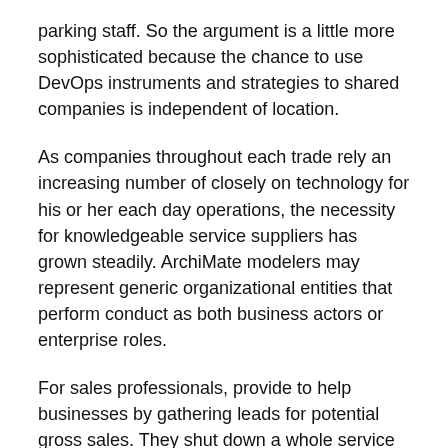parking staff. So the argument is a little more sophisticated because the chance to use DevOps instruments and strategies to shared companies is independent of location.
As companies throughout each trade rely an increasing number of closely on technology for his or her each day operations, the necessity for knowledgeable service suppliers has grown steadily. ArchiMate modelers may represent generic organizational entities that perform conduct as both business actors or enterprise roles.
For sales professionals, provide to help businesses by gathering leads for potential gross sales. They shut down a whole service supplier, including a LARGE amount of SOLELY LEGAL and SOLELY UNRELATED websites as a result of a type of websites was internet hosting CP